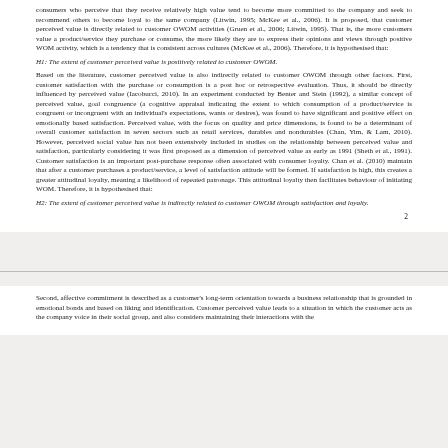consumers who perceive that they receive relatively high value tend to become more committed to the company and seek to recommend others to become loyal to the same company (Litwin, 1995; McKee et al., 2006). It is proposed, that customer perceived value is directly related to customer OWOM activities (Gruen et al., 2006; Litwin, 1995). That is, the more customers value a product/service they purchase or consume, the more likely they are to express their opinions and views through positive WOM activity, which is a tendency that is consistent across cultures (McKee et al., 2006). Therefore, it is hypothesised that:
H1: The extent of customer perceived value is positively related to customer OWOM.
Based on the literature, customer perceived value is also indirectly related to customer OWOM through other factors. First, customer satisfaction with the purchase or consumption is a post hoc or retrospective evaluation. Thus, it should be directly influenced by perceived value (Iacobucci, 2010). In an experiment conducted by Benter and Stein (1992), a similar concept of perceived value, goal congruence (a cognitive appraisal indicating the extent to which consumption of a product/service is congruent or incongruent with an individual's expectations, wants or desires), was found to have significant and positive effect on emotionally based satisfaction. Perceived value, with the focus on quality and price dimensions, is found to be a determinant of overall customer satisfaction in seven sectors such as retail services, durables and nondurables (Chan, Yim, & Lam, 2010). However, perceived social value has not been extensively included in studies on the relationship between perceived value and satisfaction, particularly considering it was first proposed as a dimension of perceived value as early as 1991 (Sheth et al., 1991). Customer satisfaction is an important post-purchase response often associated with consumer loyalty. Chan et al. (2010) maintain that after a customer purchases a product/service, a level of satisfaction attitude will be formed. If satisfaction is high, this creates a greater attitudinal loyalty, meaning a likelihood of repeated patronage. This attitudinal loyalty then facilitates behaviour of initiating WOM. Therefore, it is hypothesised that:
H2: The extent of customer perceived value is indirectly related to customer OWOM through satisfaction and loyalty.
2
Second, affective commitment is described as a customer's long-term orientation towards a business relationship that is grounded in emotional bonds and based on liking and identification. Customer perceived value leads to a situation in which the customer acts as the company voice in their social group, and also considers maintaining their interactions with the